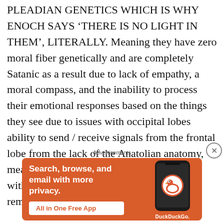PLEADIAN GENETICS WHICH IS WHY ENOCH SAYS 'THERE IS NO LIGHT IN THEM', LITERALLY. Meaning they have zero moral fiber genetically and are completely Satanic as a result due to lack of empathy, a moral compass, and the inability to process their emotional responses based on the things they see due to issues with occipital lobes ability to send / receive signals from the frontal lobe from the lack of the Anatolian anatomy, meaning in plain English, they are a being without any aspect that you could consider remotely human and genetic
[Figure (other): DuckDuckGo advertisement banner: orange background with text 'Search, browse, and email with more privacy. All in One Free App' and a phone graphic with DuckDuckGo logo]